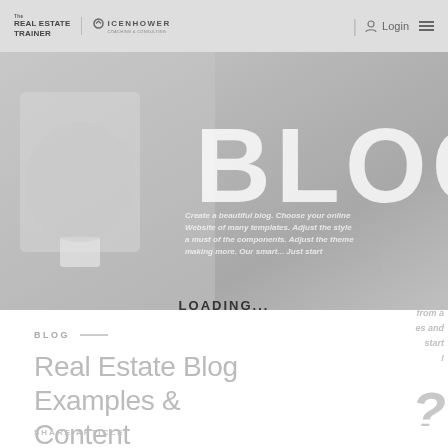The Real Estate Trainer | Icenhower | Login
[Figure (photo): Blog hero banner image with large white BLOG text overlay and small italic overlay text about creating a beautiful blog, on a grey background with a plant silhouette on the left]
LOADING...
BLOG
Real Estate Blog Examples & Content
SHARE ARTICLE